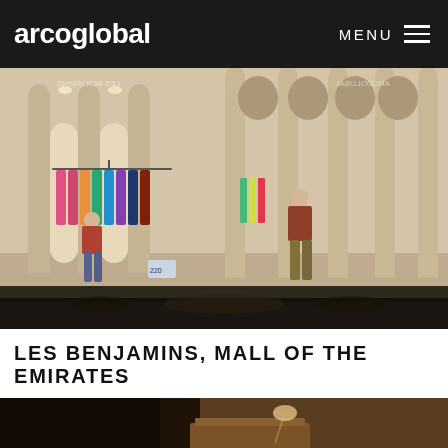arcoglobal  MENU
[Figure (photo): Interior of Les Benjamins retail store at Mall of the Emirates — arched stone-textured walls and columns, colorful clothing on racks and mannequins dressed in patterned outfits]
LES BENJAMINS, MALL OF THE EMIRATES
[Figure (photo): Partial view of another retail interior with warm brown/amber tones, wooden display furniture and accent lighting]